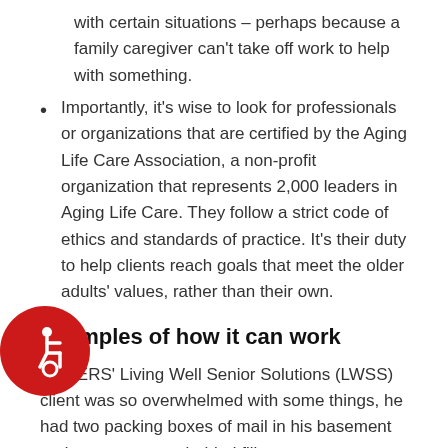with certain situations – perhaps because a family caregiver can't take off work to help with something.
Importantly, it's wise to look for professionals or organizations that are certified by the Aging Life Care Association, a non-profit organization that represents 2,000 leaders in Aging Life Care. They follow a strict code of ethics and standards of practice. It's their duty to help clients reach goals that meet the older adults' values, rather than their own.
Examples of how it can work
One ERS' Living Well Senior Solutions (LWSS) client was so overwhelmed with some things, he had two packing boxes of mail in his basement and was two years behind filing taxes.
LWSS care professional worked with a financial adviser to put everything back in order. His in-depth assessment